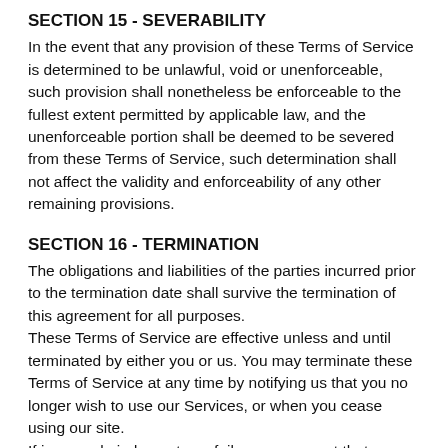SECTION 15 - SEVERABILITY
In the event that any provision of these Terms of Service is determined to be unlawful, void or unenforceable, such provision shall nonetheless be enforceable to the fullest extent permitted by applicable law, and the unenforceable portion shall be deemed to be severed from these Terms of Service, such determination shall not affect the validity and enforceability of any other remaining provisions.
SECTION 16 - TERMINATION
The obligations and liabilities of the parties incurred prior to the termination date shall survive the termination of this agreement for all purposes.
These Terms of Service are effective unless and until terminated by either you or us. You may terminate these Terms of Service at any time by notifying us that you no longer wish to use our Services, or when you cease using our site.
If in our sole judgment you fail, or we suspect that you have failed, to comply with any term or provision of these Terms of